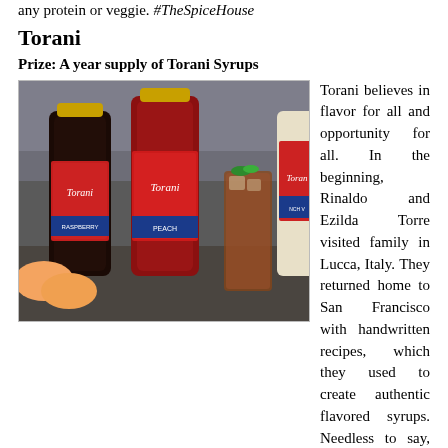any protein or veggie. #TheSpiceHouse
Torani
Prize: A year supply of Torani Syrups
[Figure (photo): Three Torani syrup bottles (Raspberry, Peach, and a third partially visible) arranged next to a tall glass of iced drink with mint, on a dark surface with blurred kitchen background.]
Torani believes in flavor for all and opportunity for all. In the beginning, Rinaldo and Ezilda Torre visited family in Lucca, Italy. They returned home to San Francisco with handwritten recipes, which they used to create authentic flavored syrups. Needless to say, the syrups we're a hit. A lot has happened since then, but our belief has remained the same: Flavor for All, Opportunity for All. It means that not only are the products we make inclusive and approachable, but so is our success. We believe everything starts with people, and the only way to truly succeed is to succeed together. #ToraniFlav...